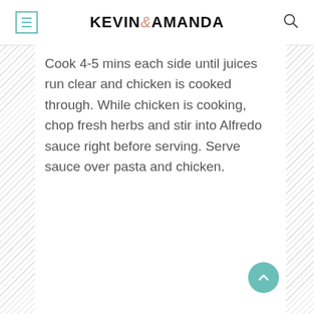KEVIN & AMANDA
Cook 4-5 mins each side until juices run clear and chicken is cooked through. While chicken is cooking, chop fresh herbs and stir into Alfredo sauce right before serving. Serve sauce over pasta and chicken.